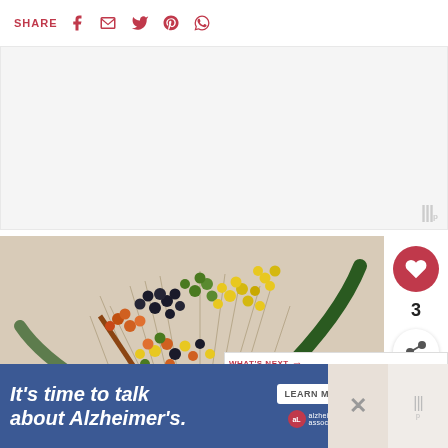SHARE [social icons: Facebook, Email, Twitter, Pinterest, WhatsApp]
[Figure (other): White/gray advertisement placeholder rectangle with watermark dots logo at bottom right]
[Figure (photo): A floral arrangement with colorful berries (black, green, yellow, orange, red) on branches with leaves and dried grasses, placed in a basket with a small brown bottle in the center. Heart/like button (3 likes) and share button on the right side.]
[Figure (infographic): WHAT'S NEXT panel with thumbnail image and title: How To Paint Cheap Dolla...]
[Figure (infographic): Bottom advertisement banner: It's time to talk about Alzheimer's. LEARN MORE button. Alzheimer's association logo. X close button and watermark logo on the right.]